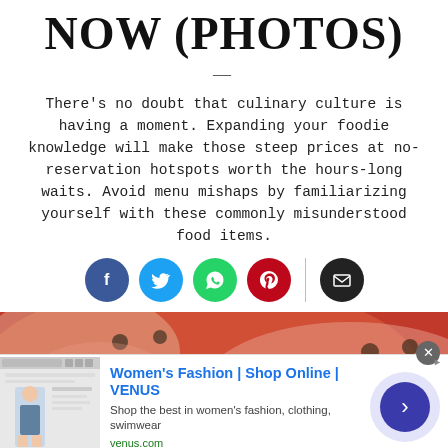NOW (PHOTOS)
There's no doubt that culinary culture is having a moment. Expanding your foodie knowledge will make those steep prices at no-reservation hotspots worth the hours-long waits. Avoid menu mishaps by familiarizing yourself with these commonly misunderstood food items.
[Figure (infographic): Social sharing icons row: Facebook (blue circle), Twitter (light blue circle), WhatsApp (green circle), Pinterest (red circle), separator line, Email (dark/black circle)]
[Figure (photo): Close-up food photo showing what appears to be a tomato or red food item with dark specks/seeds visible, warm red-orange tones]
[Figure (infographic): Advertisement banner: Women's Fashion | Shop Online | VENUS. Shop the best in women's fashion, clothing, swimwear. venus.com. With thumbnail image and arrow button.]